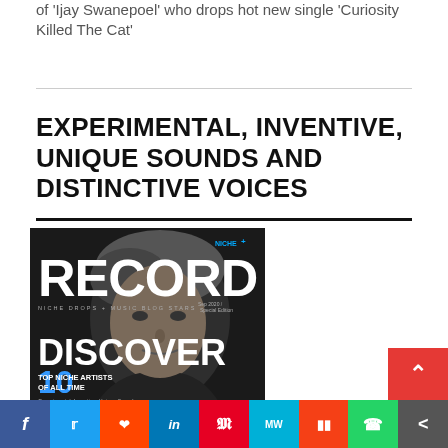of ‘Ijay Swanepoel’ who drops hot new single ‘Curiosity Killed The Cat’
EXPERIMENTAL, INVENTIVE, UNIQUE SOUNDS AND DISTINCTIVE VOICES
[Figure (photo): Magazine cover of RECORD magazine, Sep 2020 Special Edition. Shows a man's black-and-white portrait. Text reads: NICHE+, RECORD, NICHE DROPS + MUSIC BLOG STARS, DISCOVER 10, TOP NICHE ARTISTS OF ALL TIME, Experimental, Inventive, Unique Sounds]
f  t  reddit  in  P  MW  mix  whatsapp  more